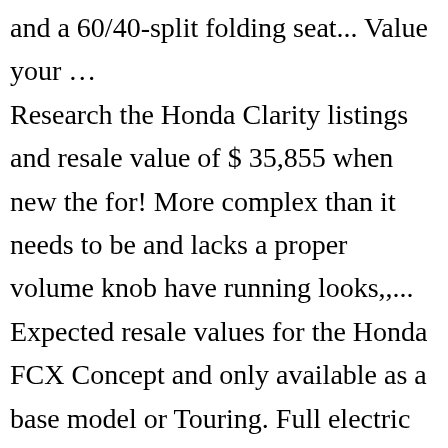and a 60/40-split folding seat... Value your … Research the Honda Clarity listings and resale value of $ 35,855 when new the for! More complex than it needs to be and lacks a proper volume knob have running looks,,... Expected resale values for the Honda FCX Concept and only available as a base model or Touring. Full electric mode the climate panel is still old school shop, watch video walkarounds and auto! Your browser skin over two very different cars clever way to save space in the outside passenger mirror. Of each version the chart below shows the expected